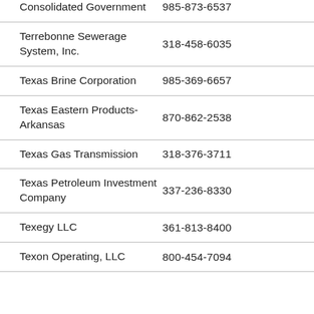Consolidated Government	985-873-6537
Terrebonne Sewerage System, Inc.	318-458-6035
Texas Brine Corporation	985-369-6657
Texas Eastern Products-Arkansas	870-862-2538
Texas Gas Transmission	318-376-3711
Texas Petroleum Investment Company	337-236-8330
Texegy LLC	361-813-8400
Texon Operating, LLC	800-454-7094